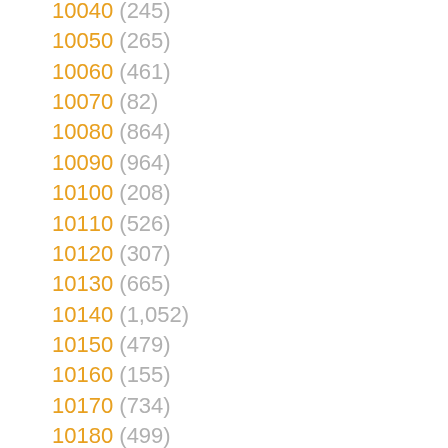10040 (245)
10050 (265)
10060 (461)
10070 (82)
10080 (864)
10090 (964)
10100 (208)
10110 (526)
10120 (307)
10130 (665)
10140 (1,052)
10150 (479)
10160 (155)
10170 (734)
10180 (499)
10190 (195)